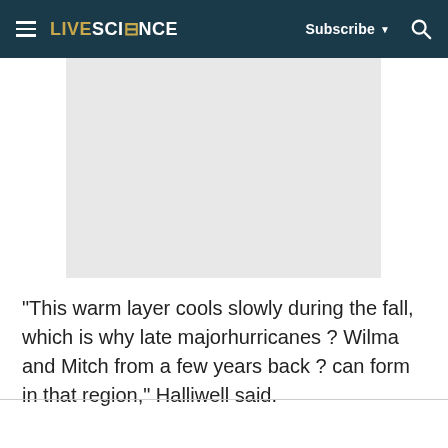LIVESCIENCE | Subscribe | Search
[Figure (photo): Placeholder image area, light gray rectangle]
"This warm layer cools slowly during the fall, which is why late majorhurricanes ? Wilma and Mitch from a few years back ? can form in that region," Halliwell said.